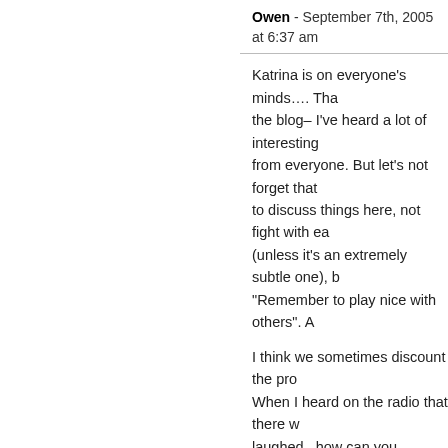Owen - September 7th, 2005 at 6:37 am
Katrina is on everyone's minds…. That the blog– I've heard a lot of interesting from everyone. But let's not forget that to discuss things here, not fight with ea (unless it's an extremely subtle one), b "Remember to play nice with others". A

I think we sometimes discount the prob When I heard on the radio that there w laughed– how can you possibly (a) co provide means for them to do so. Ever brings a minimal amount of luggage, a be like dealing with Christmas travel ti already shuts down airports and buslin more quickly, it's still damn near impos everyone out.
Paradoxdruid - September 7th, 2005 at 7:20 a
The blame resides at all levels, from in